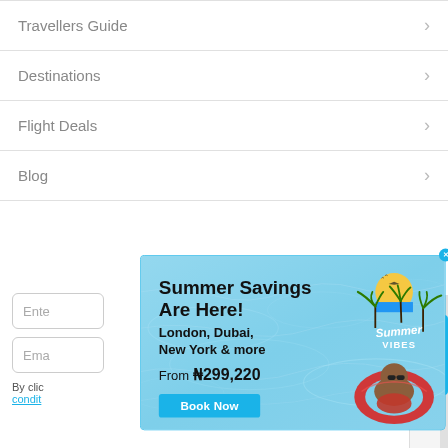Travellers Guide
Destinations
Flight Deals
Blog
[Figure (screenshot): A travel website popup advertisement for summer flight deals. Shows a pool water background with a baby in a red float wearing sunglasses. Text reads 'Summer Savings Are Here! London, Dubai, New York & more From ₦299,220' with a 'Book Now' button and a 'Summer VIBES' logo with a sunset and palm trees. Popup has a blue border and a blue X close button in the top right corner.]